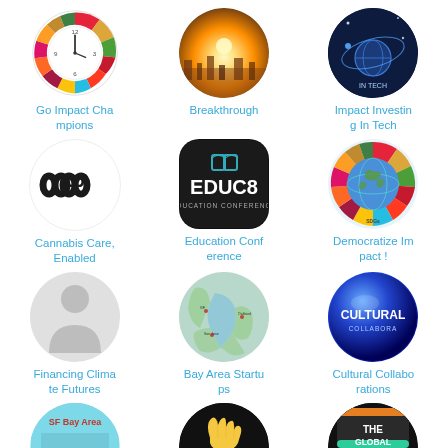[Figure (logo): SDG color wheel/clock logo for Go Impact Champions]
Go Impact Champions
[Figure (photo): Sunrise over city skyline for Breakthrough group]
Breakthrough
[Figure (logo): Dark blue circular logo with globe and orbit lines for Impact Investing In Tech]
Impact Investing In Tech
[Figure (logo): Cannabis Care Enabled - infinity/chain black logo on white]
Cannabis Care, Enabled
[Figure (logo): EDUC8 Education Conference dark rounded square logo with book icon]
Education Conference
[Figure (logo): SDG globe with colorful wheel segments - Democratize Impact]
Democratize Impact !
[Figure (illustration): Gray person silhouette placeholder for Financing Climate Futures]
Financing Climate te Futures
[Figure (map): Map of Bay Area California for Bay Area Startups group]
Bay Area Startups
[Figure (logo): Blue glossy sphere with Cultural Collaborations text]
Cultural Collaborations
[Figure (logo): SF Bay Area partial logo - teal/blue arc shape]
[Figure (logo): Black circular logo with yellow hand wave]
[Figure (logo): The Global - dark background with orange/teal accents, partially visible]